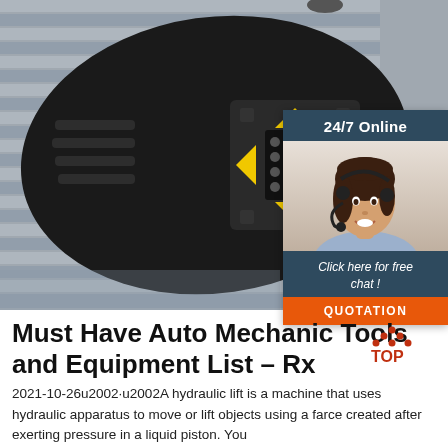[Figure (photo): Overhead view of a black garage door opener / vehicle sensor device with yellow arrow markings and electronic connector panel, mounted above metal garage door slats. Background shows corrugated metal door texture.]
[Figure (infographic): 24/7 Online chat widget showing a smiling female customer service representative wearing a headset, with blue header '24/7 Online', blue footer 'Click here for free chat!', and orange 'QUOTATION' button.]
Must Have Auto Mechanic Tools and Equipment List – Rx
2021-10-26u2002·u2002A hydraulic lift is a machine that uses hydraulic apparatus to move or lift objects using a farce created after exerting pressure in a liquid piston. You